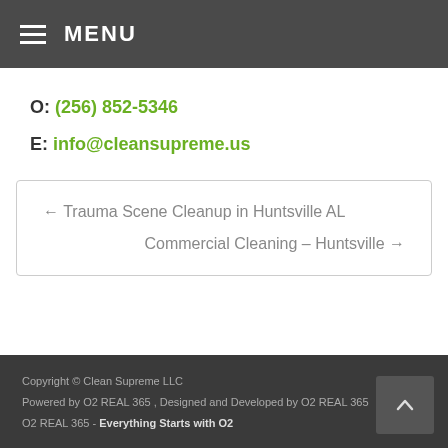☰ MENU
O: (256) 852-5346
E: info@cleansupreme.us
← Trauma Scene Cleanup in Huntsville AL
Commercial Cleaning – Huntsville →
Copyright © Clean Supreme LLC
Powered by O2 REAL 365 , Designed and Developed by O2 REAL 365
O2 REAL 365 - Everything Starts with O2